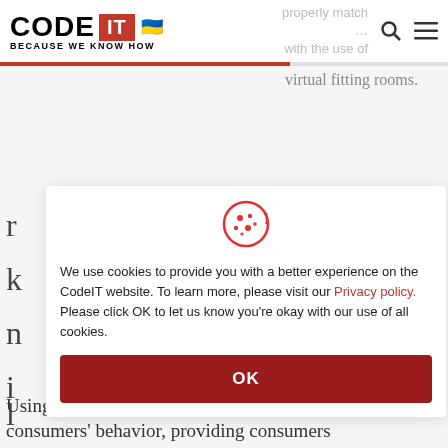[Figure (logo): CODE IT logo with red box, Ukrainian flag colors, tagline BECAUSE WE KNOW HOW]
properly match... with the use of virtual fitting rooms.
We use cookies to provide you with a better experience on the CodeIT website. To learn more, please visit our Privacy policy. Please click OK to let us know you're okay with our use of all cookies.
OK
Using AI in retail, retailers are able to track consumers' behavior, providing consumers